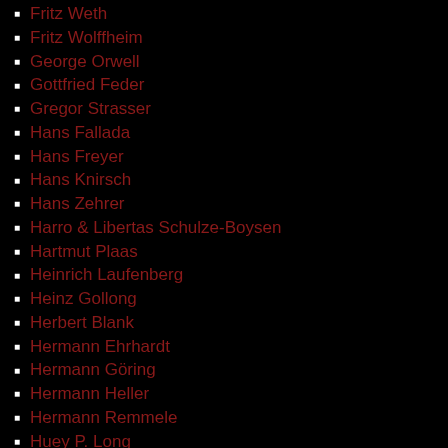Fritz Weth
Fritz Wolffheim
George Orwell
Gottfried Feder
Gregor Strasser
Hans Fallada
Hans Freyer
Hans Knirsch
Hans Zehrer
Harro & Libertas Schulze-Boysen
Hartmut Plaas
Heinrich Laufenberg
Heinz Gollong
Herbert Blank
Hermann Ehrhardt
Hermann Göring
Hermann Heller
Hermann Remmele
Huey P. Long
Johannes Albers
José Antonio Primo de Rivera
Joseph Goebbels
Joseph Stalin
Karl Marx